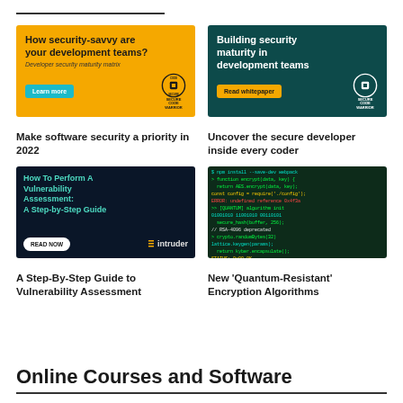[Figure (illustration): Yellow/orange advertisement banner: 'How security-savvy are your development teams? Developer security maturity matrix' with Learn more button and Secure Code Warrior logo]
[Figure (illustration): Dark teal advertisement banner: 'Building security maturity in development teams' with Read whitepaper button and Secure Code Warrior logo]
Make software security a priority in 2022
Uncover the secure developer inside every coder
[Figure (illustration): Dark blue advertisement banner by Intruder: 'How To Perform A Vulnerability Assessment: A Step-by-Step Guide' with READ NOW button]
[Figure (screenshot): Screenshot of code/terminal with green and teal text on dark background showing programming code]
A Step-By-Step Guide to Vulnerability Assessment
New 'Quantum-Resistant' Encryption Algorithms
Online Courses and Software